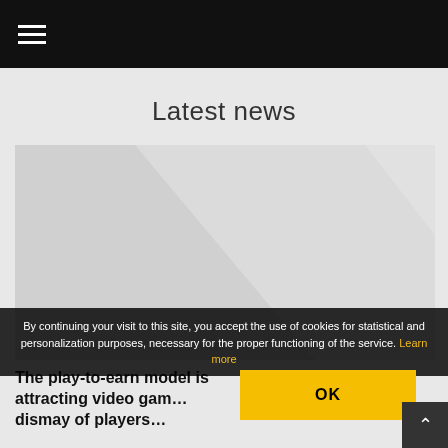≡
Latest news
[Figure (photo): Large image placeholder with light grey background and diagonal lighter highlight, representing a news article image]
By continuing your visit to this site, you accept the use of cookies for statistical and personalization purposes, necessary for the proper functioning of the service. Learn more
OK
The play-to-earn model is attracting video gam... dismay of players...